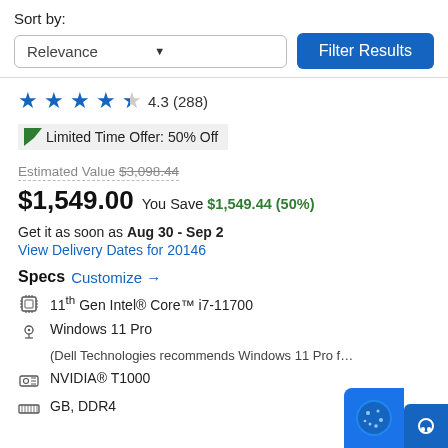Sort by:
Relevance  Filter Results
4.3 (288)
Limited Time Offer: 50% Off
Estimated Value $3,098.44
$1,549.00 You Save $1,549.44 (50%)
Get it as soon as Aug 30 - Sep 2
View Delivery Dates for 20146
Specs Customize →
11th Gen Intel® Core™ i7-11700
Windows 11 Pro
(Dell Technologies recommends Windows 11 Pro f…
NVIDIA® T1000
GB, DDR4